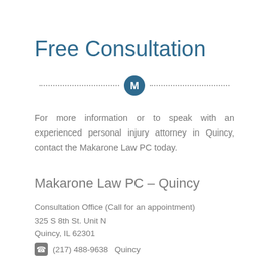Free Consultation
[Figure (logo): Circular logo with letter M in white on dark teal/blue background, flanked by dotted lines on both sides as a decorative divider]
For more information or to speak with an experienced personal injury attorney in Quincy, contact the Makarone Law PC today.
Makarone Law PC – Quincy
Consultation Office (Call for an appointment)
325 S 8th St. Unit N
Quincy, IL 62301
(217) 488-9638   Quincy